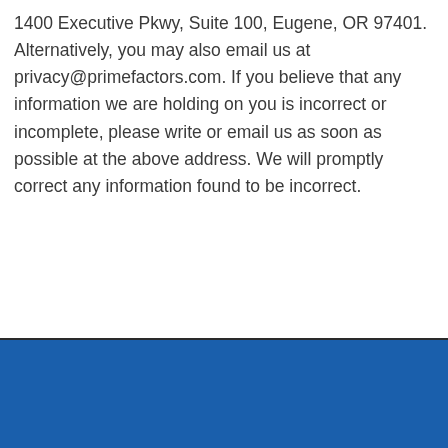1400 Executive Pkwy, Suite 100, Eugene, OR 97401. Alternatively, you may also email us at privacy@primefactors.com. If you believe that any information we are holding on you is incorrect or incomplete, please write or email us as soon as possible at the above address. We will promptly correct any information found to be incorrect.